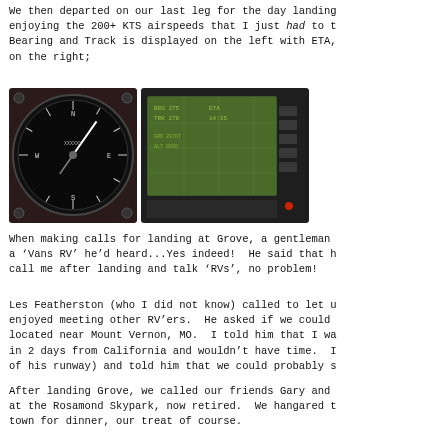We then departed on our last leg for the day landing enjoying the 200+ KTS airspeeds that I just had to t Bearing and Track is displayed on the left with ETA, on the right;
[Figure (photo): Two cockpit instruments side by side: a circular airspeed/heading gauge on the left with dark face and white markings, and a GPS/navigation display unit on the right with a green screen showing map data and buttons on the side.]
When making calls for landing at Grove, a gentleman a ‘Vans RV’ he’d heard...Yes indeed!  He said that h call me after landing and talk ‘RVs’, no problem!
Les Featherston (who I did not know) called to let u enjoyed meeting other RV’ers.  He asked if we could located near Mount Vernon, MO.  I told him that I wa in 2 days from California and wouldn’t have time.  I of his runway) and told him that we could probably s
After landing Grove, we called our friends Gary and at the Rosamond Skypark, now retired.  We hangared t town for dinner, our treat of course.